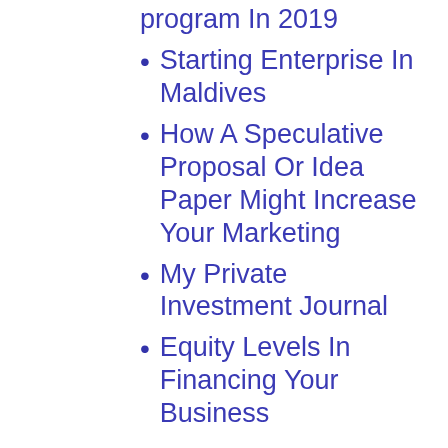Platforms Software program In 2019
Starting Enterprise In Maldives
How A Speculative Proposal Or Idea Paper Might Increase Your Marketing
My Private Investment Journal
Equity Levels In Financing Your Business